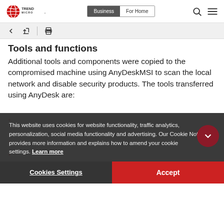[Figure (logo): Trend Micro logo with red globe icon and TREND MICRO text]
[Figure (screenshot): Navigation tabs: Business (active/dark) and For Home]
[Figure (screenshot): Toolbar with back arrow, share icon, divider, and print icon]
Tools and functions
Additional tools and components were copied to the compromised machine using AnyDeskMSI to scan the local network and disable security products. The tools transferred using AnyDesk are:
This website uses cookies for website functionality, traffic analytics, personalization, social media functionality and advertising. Our Cookie Notice provides more information and explains how to amend your cookie settings. Learn more
Nmap Dog4shellInset: To scan for Log4shell-vulnerable endpoints
Hacking tools Mimikatz and IronSacker: For lateral movement
PDQ deploy: For mass deployment of malicious script to